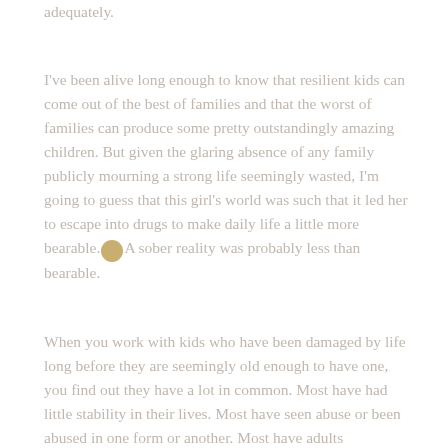adequately.
I've been alive long enough to know that resilient kids can come out of the best of families and that the worst of families can produce some pretty outstandingly amazing children. But given the glaring absence of any family publicly mourning a strong life seemingly wasted, I'm going to guess that this girl's world was such that it led her to escape into drugs to make daily life a little more bearable. A sober reality was probably less than bearable.
When you work with kids who have been damaged by life long before they are seemingly old enough to have one, you find out they have a lot in common. Most have had little stability in their lives. Most have seen abuse or been abused in one form or another. Most have adults "supervising" them who you and I would not let